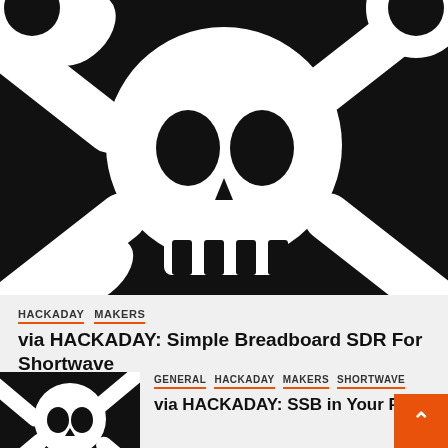[Figure (illustration): Large skull and crossbones icon on black background filling top of page]
HACKADAY   MAKERS
via HACKADAY: Simple Breadboard SDR For Shortwave
[Figure (illustration): Small skull and crossbones thumbnail on black background]
GENERAL   HACKADAY   MAKERS   SHORTWAVE
via HACKADAY: SSB in Your Pock